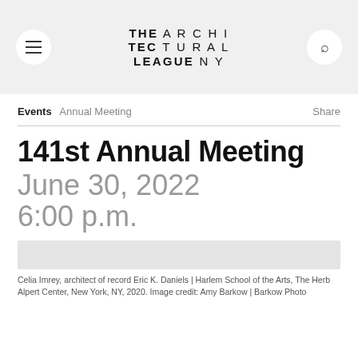THE ARCHITECTURAL LEAGUE NY
Events  Annual Meeting  Share
141st Annual Meeting
June 30, 2022
6:00 p.m.
[Figure (photo): Placeholder image strip for event photo]
Celia Imrey, architect of record Eric K. Daniels | Harlem School of the Arts, The Herb Alpert Center, New York, NY, 2020. Image credit: Amy Barkow | Barkow Photo